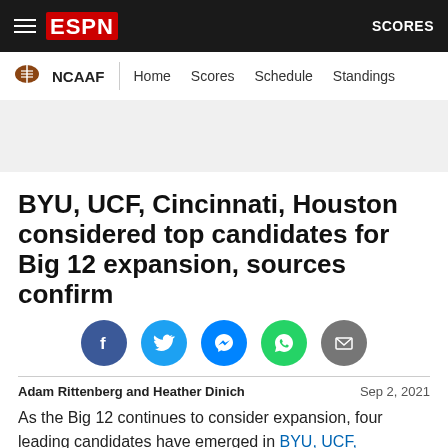ESPN NCAAF | Home Scores Schedule Standings | SCORES
BYU, UCF, Cincinnati, Houston considered top candidates for Big 12 expansion, sources confirm
[Figure (infographic): Social sharing icons: Facebook, Twitter, Messenger, WhatsApp, Email]
Adam Rittenberg and Heather Dinich   Sep 2, 2021
As the Big 12 continues to consider expansion, four leading candidates have emerged in BYU, UCF, Cincinnati and